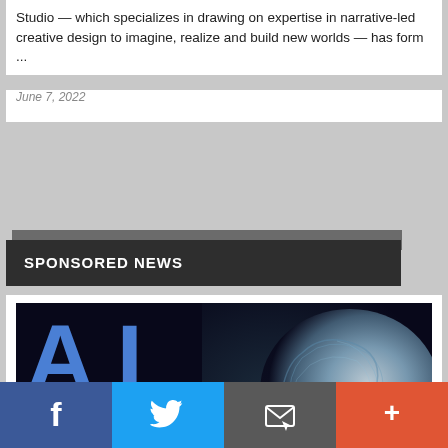Studio — which specializes in drawing on expertise in narrative-led creative design to imagine, realize and build new worlds — has form ...
June 7, 2022
SPONSORED NEWS
[Figure (photo): Dark background image with large blue 'AI' letters on the left and a blue-white textured brain/hand sculpture on the right. Text at bottom reads 'EXPANDING THE LIMITS OF YOUR CREATIVITY']
f  (Facebook share)  |  Twitter share  |  Email share  |  More (+)